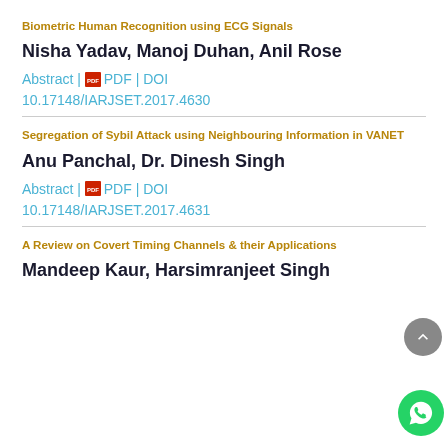Biometric Human Recognition using ECG Signals
Nisha Yadav, Manoj Duhan, Anil Rose
Abstract | PDF | DOI 10.17148/IARJSET.2017.4630
Segregation of Sybil Attack using Neighbouring Information in VANET
Anu Panchal, Dr. Dinesh Singh
Abstract | PDF | DOI 10.17148/IARJSET.2017.4631
A Review on Covert Timing Channels & their Applications
Mandeep Kaur, Harsimranjeet Singh